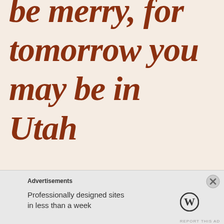be merry, for tomorrow you may be in Utah
Advertisements
Professionally designed sites in less than a week